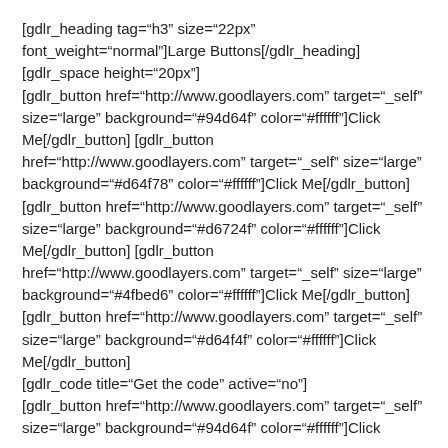[gdlr_heading tag="h3" size="22px" font_weight="normal"]Large Buttons[/gdlr_heading]
[gdlr_space height="20px"]
[gdlr_button href="http://www.goodlayers.com" target="_self" size="large" background="#94d64f" color="#ffffff"]Click Me[/gdlr_button] [gdlr_button href="http://www.goodlayers.com" target="_self" size="large" background="#d64f78" color="#ffffff"]Click Me[/gdlr_button] [gdlr_button href="http://www.goodlayers.com" target="_self" size="large" background="#d6724f" color="#ffffff"]Click Me[/gdlr_button] [gdlr_button href="http://www.goodlayers.com" target="_self" size="large" background="#4fbed6" color="#ffffff"]Click Me[/gdlr_button] [gdlr_button href="http://www.goodlayers.com" target="_self" size="large" background="#d64f4f" color="#ffffff"]Click Me[/gdlr_button]
[gdlr_code title="Get the code" active="no"]
[gdlr_button href="http://www.goodlayers.com" target="_self" size="large" background="#94d64f" color="#ffffff"]Click